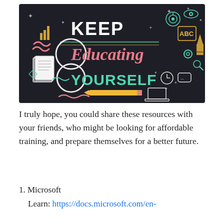[Figure (photo): A chalkboard-style motivational image with colorful hand-lettered text reading 'KEEP Educating YOURSELF' surrounded by doodles of educational icons like books, pencils, targets, clocks, gears, and stars on a dark background.]
I truly hope, you could share these resources with your friends, who might be looking for affordable training, and prepare themselves for a better future.
1. Microsoft
Learn: https://docs.microsoft.com/en-